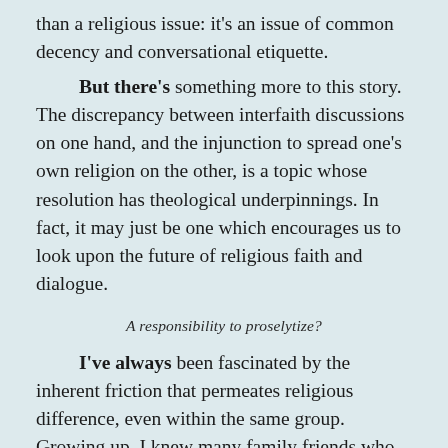than a religious issue: it's an issue of common decency and conversational etiquette.
But there's something more to this story. The discrepancy between interfaith discussions on one hand, and the injunction to spread one's own religion on the other, is a topic whose resolution has theological underpinnings. In fact, it may just be one which encourages us to look upon the future of religious faith and dialogue.
A responsibility to proselytize?
I've always been fascinated by the inherent friction that permeates religious difference, even within the same group. Growing up, I knew many family friends who wear the hijab as part of their Islamic belief. Many of these consider the